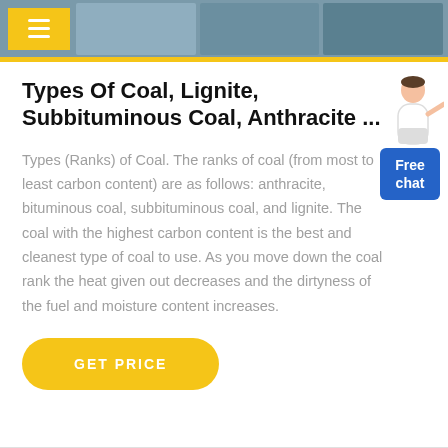[Figure (other): Website header bar with hamburger menu yellow box icon and three industrial/factory image placeholders on a dark teal background, with a yellow divider bar below]
Types Of Coal, Lignite, Subbituminous Coal, Anthracite ...
Types (Ranks) of Coal. The ranks of coal (from most to least carbon content) are as follows: anthracite, bituminous coal, subbituminous coal, and lignite. The coal with the highest carbon content is the best and cleanest type of coal to use. As you move down the coal rank the heat given out decreases and the dirtyness of the fuel and moisture content increases.
[Figure (other): Free chat widget with illustrated person (customer service representative) above a blue button labeled 'Free chat']
GET PRICE